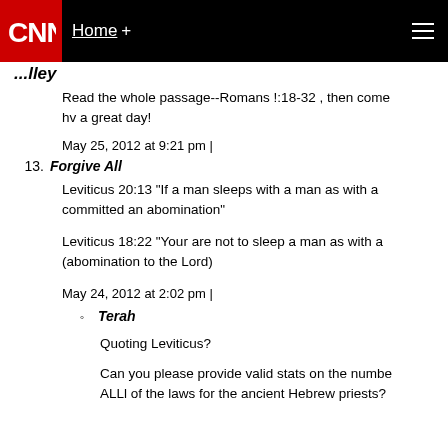CNN Home +
...lley
Read the whole passage--Romans !:18-32 , then come hv a great day!
May 25, 2012 at 9:21 pm |
13. Forgive All
Leviticus 20:13 "If a man sleeps with a man as with a committed an abomination"
Leviticus 18:22 "Your are not to sleep a man as with a (abomination to the Lord)
May 24, 2012 at 2:02 pm |
◦ Terah
Quoting Leviticus?
Can you please provide valid stats on the numbe ALLl of the laws for the ancient Hebrew priests?